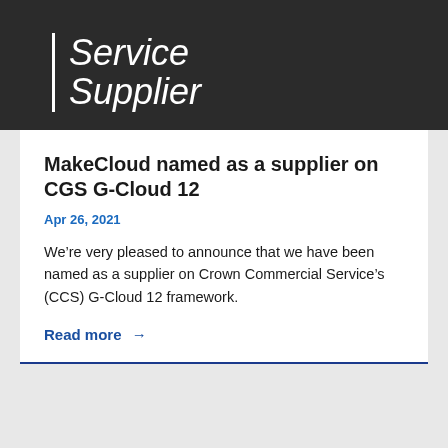[Figure (logo): Dark banner header with white italic text 'Service Supplier' with a vertical white bar on the left]
MakeCloud named as a supplier on CGS G-Cloud 12
Apr 26, 2021
We’re very pleased to announce that we have been named as a supplier on Crown Commercial Service’s (CCS) G-Cloud 12 framework.
Read more →